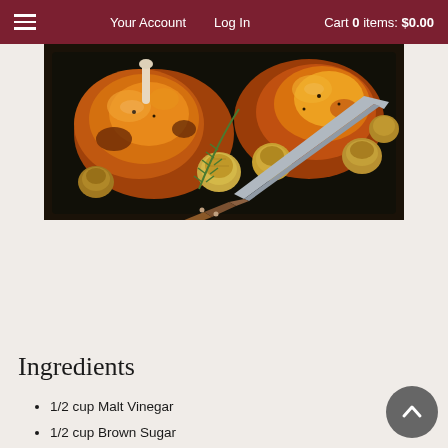≡   Your Account   Log In   Cart 0 items: $0.00
[Figure (photo): Overhead shot of roasted meat (chicken legs/thighs) on a dark tray with whole roasted garlic bulbs, rosemary sprigs, and a large carving knife with wooden handle]
Recipe Date: April 6, 2020
Serving Size: 4
Cook Time: 00:00:00
Difficulty: Easy
Measurements: Imperial (US)
Ingredients
1/2 cup Malt Vinegar
1/2 cup Brown Sugar